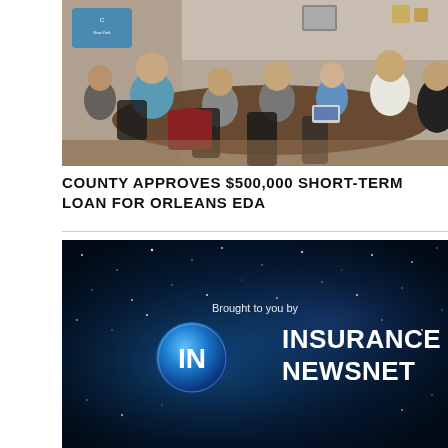[Figure (photo): Group of people seated around a conference table in a meeting room, viewed from above and to the side. Several men in casual attire are visible, with a laptop on the table. A logo/banner is visible on the wall in the background.]
COUNTY APPROVES $500,000 SHORT-TERM LOAN FOR ORLEANS EDA
[Figure (logo): Dark blue starfield/nebula background with text 'Brought to you by' and the Insurance NewsNet logo featuring a circular blue 'IN' badge and bold white text 'INSURANCE NEWSNET'.]